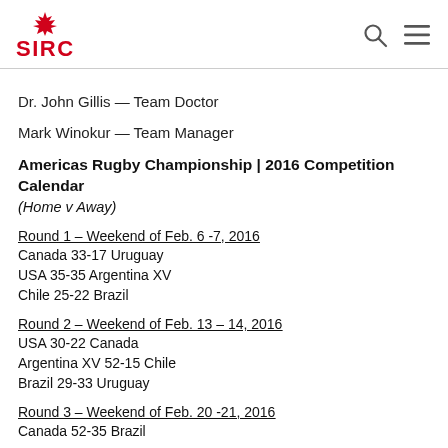SIRC logo, search icon, menu icon
Dr. John Gillis — Team Doctor
Mark Winokur — Team Manager
Americas Rugby Championship | 2016 Competition Calendar
(Home v Away)
Round 1 – Weekend of Feb. 6 -7, 2016
Canada 33-17 Uruguay
USA 35-35 Argentina XV
Chile 25-22 Brazil
Round 2 – Weekend of Feb. 13 – 14, 2016
USA 30-22 Canada
Argentina XV 52-15 Chile
Brazil 29-33 Uruguay
Round 3 – Weekend of Feb. 20 -21, 2016
Canada 52-35 Brazil